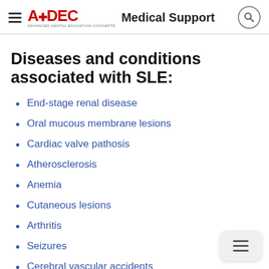ADEC Medical Support
Diseases and conditions associated with SLE:
End-stage renal disease
Oral mucous membrane lesions
Cardiac valve pathosis
Atherosclerosis
Anemia
Cutaneous lesions
Arthritis
Seizures
Cerebral vascular accidents